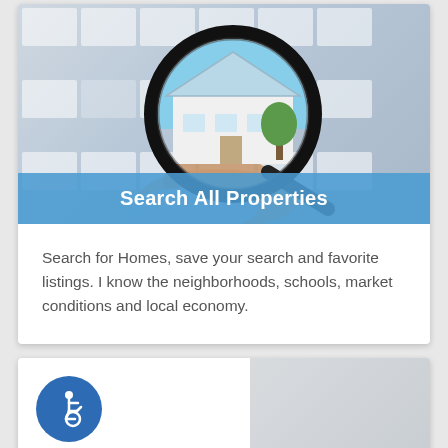[Figure (photo): A hand holding a magnifying glass over a house/building image, with blurred real estate listing documents in the background. Blue sky visible through the magnifying glass lens. A blue semi-transparent banner at the bottom of the image reads 'Search All Properties'.]
Search All Properties
Search for Homes, save your search and favorite listings. I know the neighborhoods, schools, market conditions and local economy.
[Figure (photo): Bottom card with a blue circular accessibility icon (wheelchair symbol) on the left, and a blurred document/listing image on the right.]